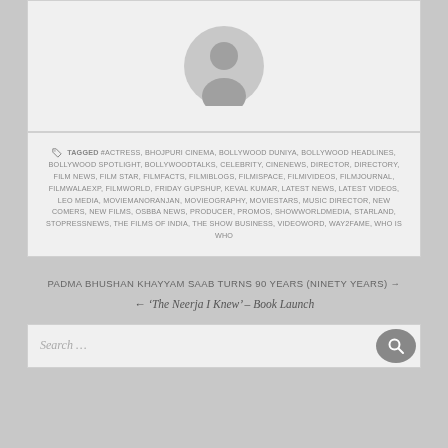[Figure (illustration): Gray placeholder avatar silhouette icon in a light gray card box]
TAGGED #ACTRESS, BHOJPURI CINEMA, BOLLYWOOD DUNIYA, BOLLYWOOD HEADLINES, BOLLYWOOD SPOTLIGHT, BOLLYWOODTALKS, CELEBRITY, CINENEWS, DIRECTOR, DIRECTORY, FILM NEWS, FILM STAR, FILMFACTS, FILMIBLOGS, FILMISPACE, FILMIVIDEOS, FILMJOURNAL, FILMWALAEXP, FILMWORLD, FRIDAY GUPSHUP, KEVAL KUMAR, LATEST NEWS, LATEST VIDEOS, LEO MEDIA, MOVIEMANORANJAN, MOVIEOGRAPHY, MOVIESTARS, MUSIC DIRECTOR, NEW COMERS, NEW FILMS, OSBBA NEWS, PRODUCER, PROMOS, SHOWWORLDMEDIA, STARLAND, STOPRESSNEWS, THE FILMS OF INDIA, THE SHOW BUSINESS, VIDEOWORD, WAY2FAME, WHO IS WHO
PADMA BHUSHAN KHAYYAM SAAB TURNS 90 YEARS (NINETY YEARS) →
← ‘The Neerja I Knew’ – Book Launch
Search ...